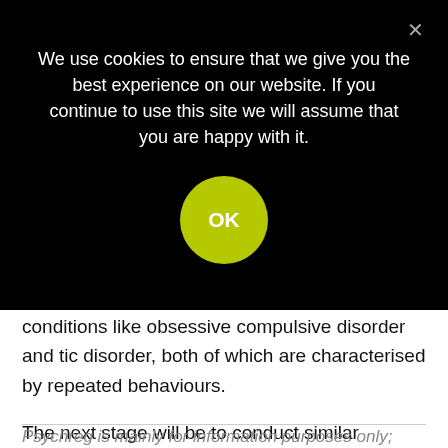We use cookies to ensure that we give you the best experience on our website. If you continue to use this site we will assume that you are happy with it.
OK
conditions like obsessive compulsive disorder and tic disorder, both of which are characterised by repeated behaviours.
The next stage will be to conduct similar experiments in a real-world scenario, observing human behaviour in action-based versus reward-based tests.
Psychreg is mainly for information purposes only; materials on this website are not